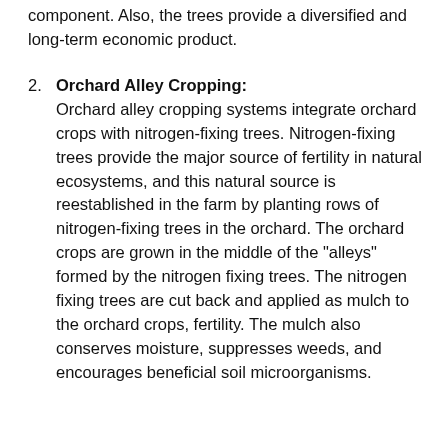component. Also, the trees provide a diversified and long-term economic product.
Orchard Alley Cropping: Orchard alley cropping systems integrate orchard crops with nitrogen-fixing trees. Nitrogen-fixing trees provide the major source of fertility in natural ecosystems, and this natural source is reestablished in the farm by planting rows of nitrogen-fixing trees in the orchard. The orchard crops are grown in the middle of the "alleys" formed by the nitrogen fixing trees. The nitrogen fixing trees are cut back and applied as mulch to the orchard crops, fertility. The mulch also conserves moisture, suppresses weeds, and encourages beneficial soil microorganisms.